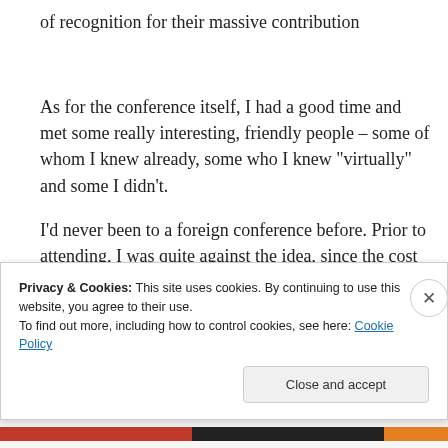of recognition for their massive contribution
As for the conference itself, I had a good time and met some really interesting, friendly people – some of whom I knew already, some who I knew “virtually” and some I didn’t.
I’d never been to a foreign conference before. Prior to attending, I was quite against the idea, since the cost
Privacy & Cookies: This site uses cookies. By continuing to use this website, you agree to their use.
To find out more, including how to control cookies, see here: Cookie Policy